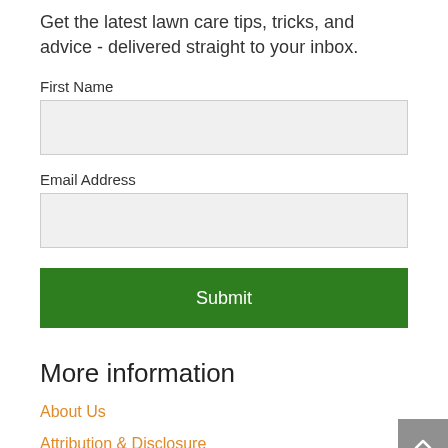Get the latest lawn care tips, tricks, and advice - delivered straight to your inbox.
First Name
Email Address
Submit
More information
About Us
Attribution & Disclosure